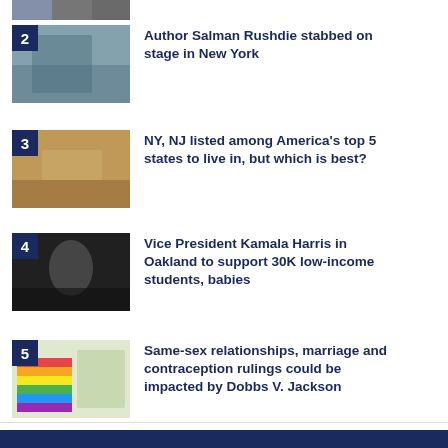[Figure (photo): Cropped top image strip]
2 Author Salman Rushdie stabbed on stage in New York
3 NY, NJ listed among America's top 5 states to live in, but which is best?
4 Vice President Kamala Harris in Oakland to support 30K low-income students, babies
5 Same-sex relationships, marriage and contraception rulings could be impacted by Dobbs V. Jackson